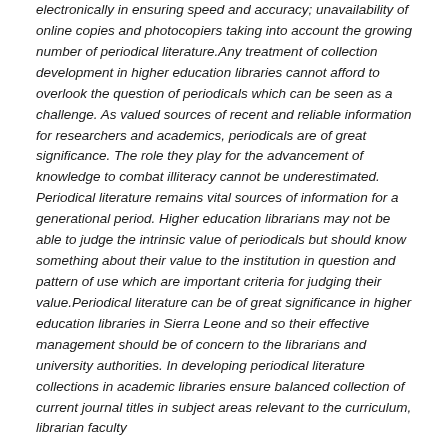electronically in ensuring speed and accuracy; unavailability of online copies and photocopiers taking into account the growing number of periodical literature.Any treatment of collection development in higher education libraries cannot afford to overlook the question of periodicals which can be seen as a challenge. As valued sources of recent and reliable information for researchers and academics, periodicals are of great significance. The role they play for the advancement of knowledge to combat illiteracy cannot be underestimated. Periodical literature remains vital sources of information for a generational period. Higher education librarians may not be able to judge the intrinsic value of periodicals but should know something about their value to the institution in question and pattern of use which are important criteria for judging their value.Periodical literature can be of great significance in higher education libraries in Sierra Leone and so their effective management should be of concern to the librarians and university authorities. In developing periodical literature collections in academic libraries ensure balanced collection of current journal titles in subject areas relevant to the curriculum, librarian faculty